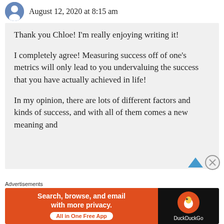August 12, 2020 at 8:15 am
Thank you Chloe! I'm really enjoying writing it!
I completely agree! Measuring success off of one's metrics will only lead to you undervaluing the success that you have actually achieved in life!
In my opinion, there are lots of different factors and kinds of success, and with all of them comes a new meaning and definition...
Advertisements
[Figure (infographic): DuckDuckGo advertisement banner: orange left panel reads 'Search, browse, and email with more privacy. All in One Free App'; black right panel shows DuckDuckGo logo and name.]